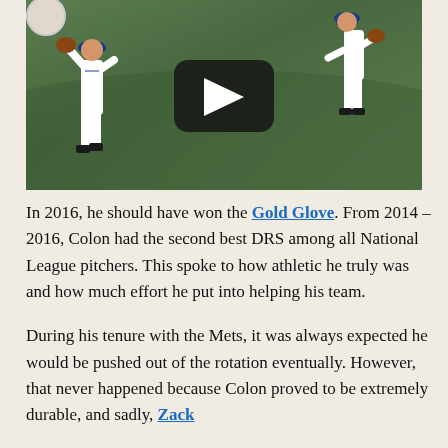[Figure (screenshot): Video thumbnail of a baseball play showing two players in white Mets uniforms on a green field, with a YouTube-style play button overlay in the center.]
In 2016, he should have won the Gold Glove. From 2014 – 2016, Colon had the second best DRS among all National League pitchers. This spoke to how athletic he truly was and how much effort he put into helping his team.
During his tenure with the Mets, it was always expected he would be pushed out of the rotation eventually. However, that never happened because Colon proved to be extremely durable, and sadly, Zack